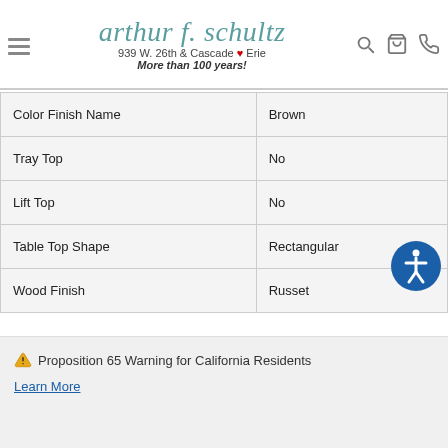arthur f. schultz — 939 W. 26th & Cascade Erie — More than 100 years!
| Color Finish Name | Brown |
| Tray Top | No |
| Lift Top | No |
| Table Top Shape | Rectangular |
| Wood Finish | Russet |
⚠ Proposition 65 Warning for California Residents
Learn More